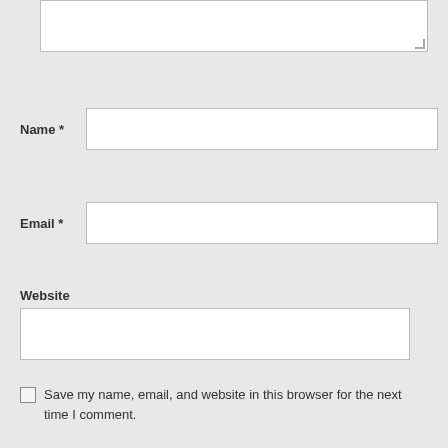[Figure (screenshot): Textarea input box (partially visible at top of page), empty white rectangle with resize handle]
Name *
[Figure (screenshot): Name text input field, empty white rectangle]
Email *
[Figure (screenshot): Email text input field, empty white rectangle]
Website
[Figure (screenshot): Website text input field, empty white rectangle, slightly narrower than Name/Email fields]
Save my name, email, and website in this browser for the next time I comment.